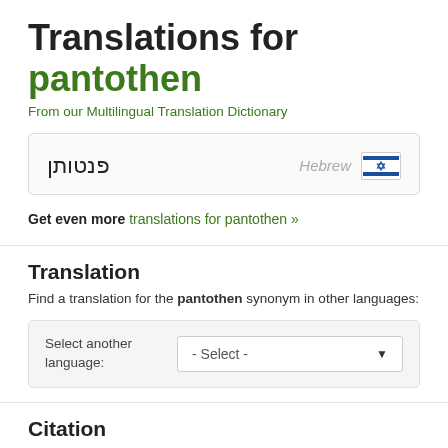Translations for pantothen
From our Multilingual Translation Dictionary
פנטותן  Hebrew
Get even more translations for pantothen »
Translation
Find a translation for the pantothen synonym in other languages:
Select another language:  - Select -
Citation